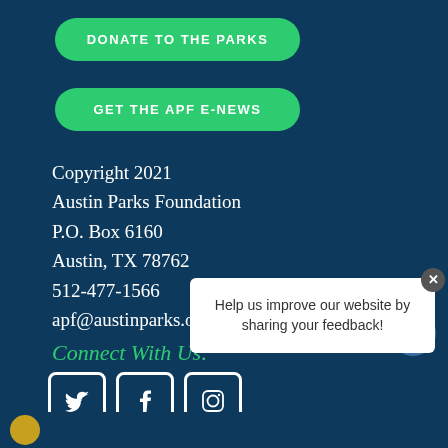DONATE TO THE PARKS
GET THE APF E-NEWS
Copyright 2021
Austin Parks Foundation
P.O. Box 6160
Austin, TX 78762
512-477-1566
apf@austinparks.org
Connect With Us:
[Figure (illustration): Social media icons: Twitter bird, Facebook F, Instagram camera in rounded square borders; and a chat bot smiley icon]
Help us improve our website by sharing your feedback!
[Figure (illustration): Bottom strip with a partially visible golden circular logo]